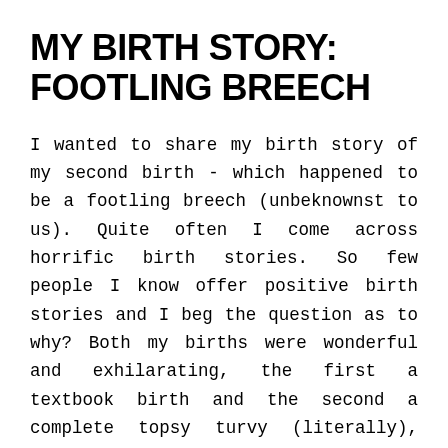MY BIRTH STORY: FOOTLING BREECH
I wanted to share my birth story of my second birth - which happened to be a footling breech (unbeknownst to us). Quite often I come across horrific birth stories. So few people I know offer positive birth stories and I beg the question as to why? Both my births were wonderful and exhilarating, the first a textbook birth and the second a complete topsy turvy (literally), but I believe overrides any ‘normal’ birth with no complications. I choose to present it in a positive light, because that's what it was -